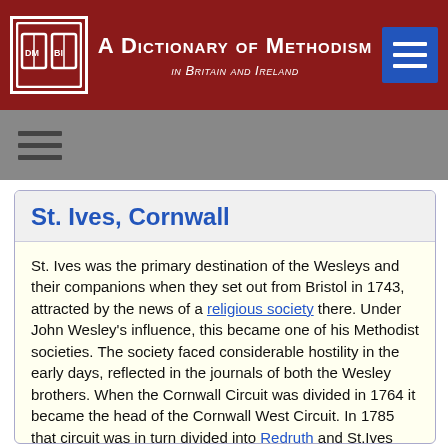A Dictionary of Methodism in Britain and Ireland
St. Ives, Cornwall
St. Ives was the primary destination of the Wesleys and their companions when they set out from Bristol in 1743, attracted by the news of a religious society there. Under John Wesley's influence, this became one of his Methodist societies. The society faced considerable hostility in the early days, reflected in the journals of both the Wesley brothers. When the Cornwall Circuit was divided in 1764 it became the head of the Cornwall West Circuit. In 1785 that circuit was in turn divided into Redruth and St.Ives Circuits. Changing demography occasioned the latter being renamed Penzance in 1794. A smaller St.Ives Circuit re-emerged in 1834.
Wesley chapel was opened in 1785 and much